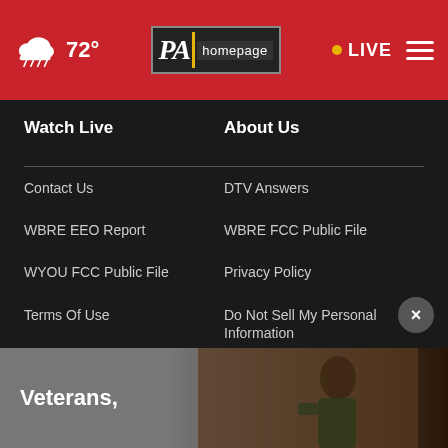72° LIVE — PA Homepage navigation header
Watch Live
About Us
Contact Us
DTV Answers
WBRE EEO Report
WBRE FCC Public File
WYOU FCC Public File
Privacy Policy
Terms Of Use
Do Not Sell My Personal Information
FCC Applications
Public File Assistance Contact
[Figure (screenshot): Advertisement banner showing 'Veterans,' text with a person in background, partially visible at bottom of page]